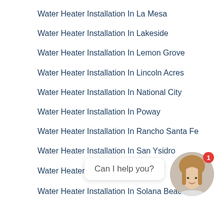Water Heater Installation In La Mesa
Water Heater Installation In Lakeside
Water Heater Installation In Lemon Grove
Water Heater Installation In Lincoln Acres
Water Heater Installation In National City
Water Heater Installation In Poway
Water Heater Installation In Rancho Santa Fe
Water Heater Installation In San Ysidro
Water Heater Installa…
Water Heater Installation In Solana Beach
[Figure (photo): Chat widget with female avatar photo and 'Can I help you?' bubble, notification badge showing 1]